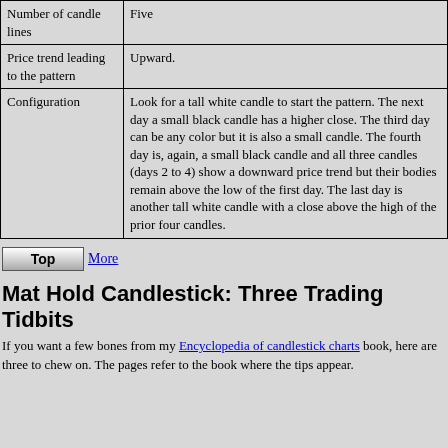| Number of candle lines | Five |
| Price trend leading to the pattern | Upward. |
| Configuration | Look for a tall white candle to start the pattern. The next day a small black candle has a higher close. The third day can be any color but it is also a small candle. The fourth day is, again, a small black candle and all three candles (days 2 to 4) show a downward price trend but their bodies remain above the low of the first day. The last day is another tall white candle with a close above the high of the prior four candles. |
Top  More
Mat Hold Candlestick: Three Trading Tidbits
If you want a few bones from my Encyclopedia of candlestick charts book, here are three to chew on. The pages refer to the book where the tips appear.